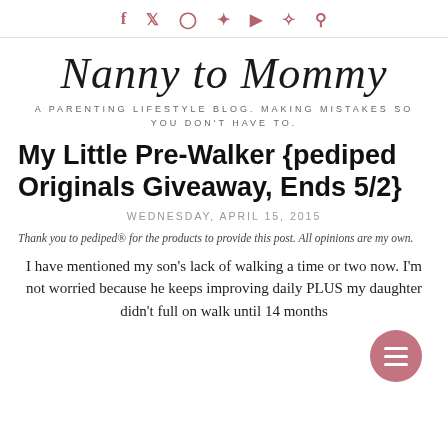f  t  [instagram]  [pinterest]  [youtube]  [snapchat]  [search]
Nanny to Mommy
A PARENTING LIFESTYLE BLOG. MAKING MISTAKES SO YOU DON'T HAVE TO.
My Little Pre-Walker {pediped Originals Giveaway, Ends 5/2}
WEDNESDAY, APRIL 15, 2015
Thank you to pediped® for the products to provide this post. All opinions are my own.
I have mentioned my son's lack of walking a time or two now. I'm not worried because he keeps improving daily PLUS my daughter didn't full on walk until 14 months